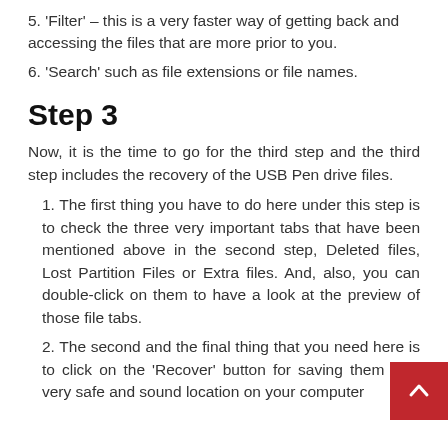5. 'Filter' – this is a very faster way of getting back and accessing the files that are more prior to you.
6. 'Search' such as file extensions or file names.
Step 3
Now, it is the time to go for the third step and the third step includes the recovery of the USB Pen drive files.
1. The first thing you have to do here under this step is to check the three very important tabs that have been mentioned above in the second step, Deleted files, Lost Partition Files or Extra files. And, also, you can double-click on them to have a look at the preview of those file tabs.
2. The second and the final thing that you need here is to click on the 'Recover' button for saving them to a very safe and sound location on your computer